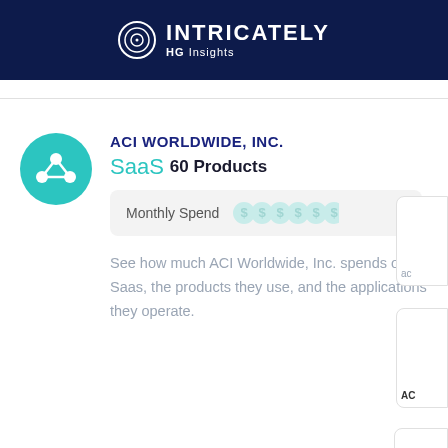INTRICATELY HG Insights
ACI WORLDWIDE, INC.
SaaS 60 Products
Monthly Spend
See how much ACI Worldwide, Inc. spends on Saas, the products they use, and the applications they operate.